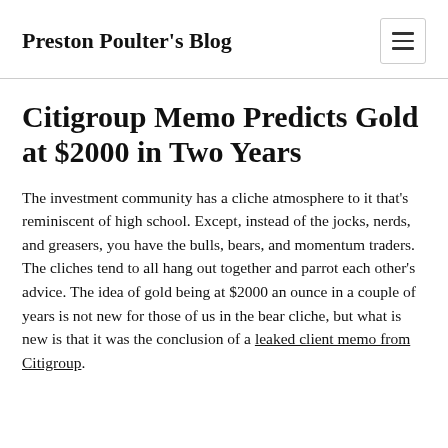Preston Poulter's Blog
Citigroup Memo Predicts Gold at $2000 in Two Years
The investment community has a cliche atmosphere to it that's reminiscent of high school. Except, instead of the jocks, nerds, and greasers, you have the bulls, bears, and momentum traders. The cliches tend to all hang out together and parrot each other's advice. The idea of gold being at $2000 an ounce in a couple of years is not new for those of us in the bear cliche, but what is new is that it was the conclusion of a leaked client memo from Citigroup.